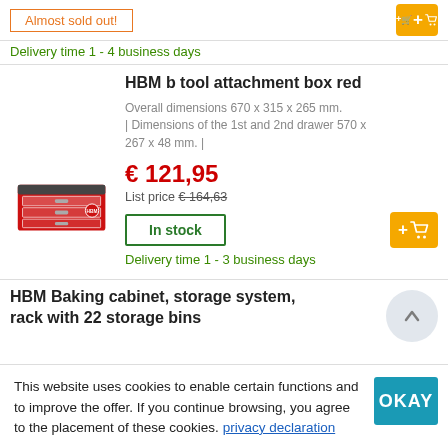Almost sold out!
Delivery time 1 - 4 business days
HBM b tool attachment box red
Overall dimensions 670 x 315 x 265 mm. | Dimensions of the 1st and 2nd drawer 570 x 267 x 48 mm. |
€ 121,95
List price € 164,63
In stock
Delivery time 1 - 3 business days
[Figure (photo): Red tool attachment box with 3 drawers]
HBM Baking cabinet, storage system, rack with 22 storage bins
This website uses cookies to enable certain functions and to improve the offer. If you continue browsing, you agree to the placement of these cookies. privacy declaration